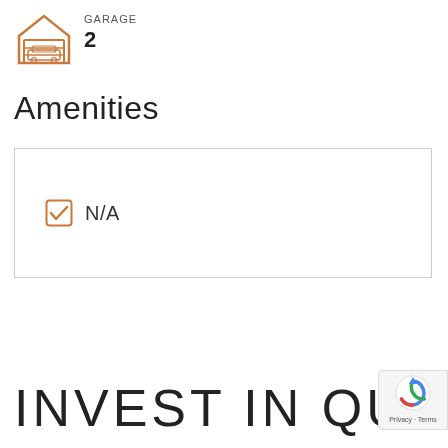[Figure (illustration): Orange line icon of a garage/house with a car inside]
GARAGE
2
Amenities
| ☑ N/A |
INVEST IN QUEEN
[Figure (logo): Google reCAPTCHA badge with Privacy - Terms text]